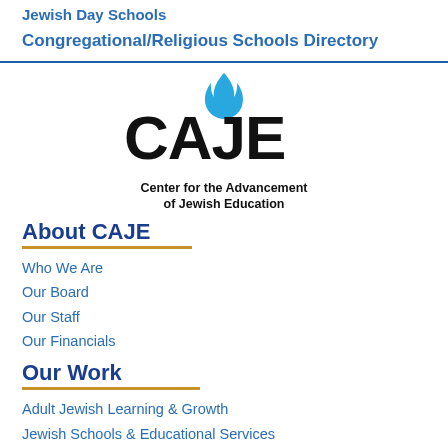Jewish Day Schools
Congregational/Religious Schools Directory
[Figure (logo): CAJE logo with flame icon above letters, center aligned. Text below: Center for the Advancement of Jewish Education]
About CAJE
Who We Are
Our Board
Our Staff
Our Financials
Our Work
Adult Jewish Learning & Growth
Jewish Schools & Educational Services